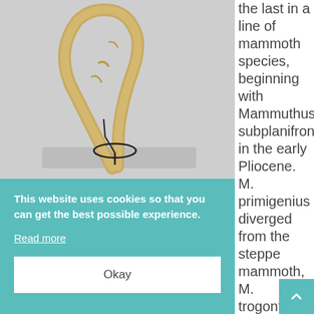[Figure (photo): A large curved mammoth tusk mounted on a black metal stand against a light grey background]
the last in a line of mammoth species, beginning with Mammuthus subplanifrons in the early Pliocene. M. primigenius diverged from the steppe mammoth, M. trogontherii, about 200,000 years ago in eastern Asia.
This website uses cookies so that you can get the best possible experience.
Read more
Okay